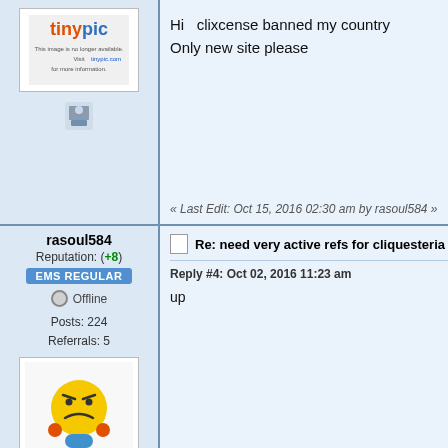[Figure (illustration): Tinypic image no longer available placeholder with small avatar icon below]
Hi  clixcense banned my country
Only new site please
« Last Edit: Oct 15, 2016 02:30 am by rasoul584 »
rasoul584
Reputation: (+8)
EMS REGULAR
Offline
Posts: 224
Referrals: 5
[Figure (illustration): Tinypic smiley face image no longer available with small avatar icon below]
Re: need very active refs for cliquesteria an
Reply #4: Oct 02, 2016 11:23 am
up